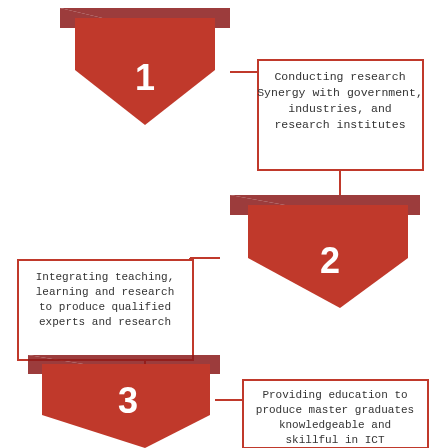[Figure (infographic): A flowchart-style infographic showing 3 numbered downward-pointing red chevron/arrow shapes arranged in a staggered pattern. Arrow 1 is top-left, arrow 2 is middle-right, arrow 3 is bottom-left. Each arrow is connected by a vertical line to a bordered text box. Box 1 (right): Conducting research / Synergy with government, industries, and research institutes. Box 2 (left): Integrating teaching, learning and research to produce qualified experts and research. Box 3 (right): Providing education to produce master graduates knowledgeable and skillful in ICT.]